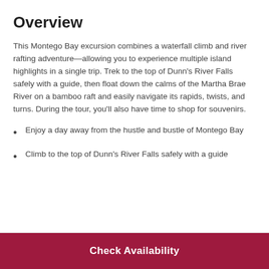Overview
This Montego Bay excursion combines a waterfall climb and river rafting adventure—allowing you to experience multiple island highlights in a single trip. Trek to the top of Dunn's River Falls safely with a guide, then float down the calms of the Martha Brae River on a bamboo raft and easily navigate its rapids, twists, and turns. During the tour, you'll also have time to shop for souvenirs.
Enjoy a day away from the hustle and bustle of Montego Bay
Climb to the top of Dunn's River Falls safely with a guide
Check Availability